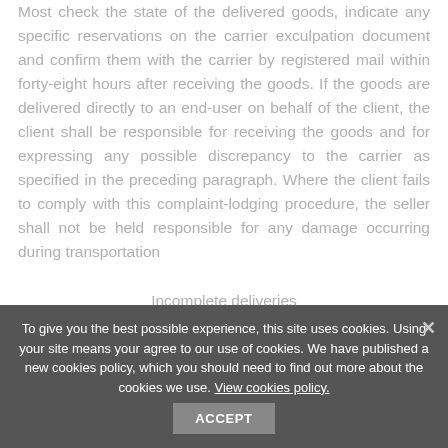Most check the state of the delivered goods, indicate any specific reservations on the carrier exculpation document and confirm them with the carrier by registered mail within forty-eight hours after receiving the goods. If the goods are delivered directly to an end-user on behalf of the client, the client shall be responsible for receiving the goods and for expressing any possible discrepancy to the carrier as specified in the preceding paragraph. Where the client fails to comply with this complaint-lodging procedure, the seller shall not be held responsible for any damage occurring during transportation
Incomplete deliveries
In case of complaint concerning
To give you the best possible experience, this site uses cookies. Using your site means your agree to our use of cookies. We have published a new cookies policy, which you should need to find out more about the cookies we use. View cookies policy.